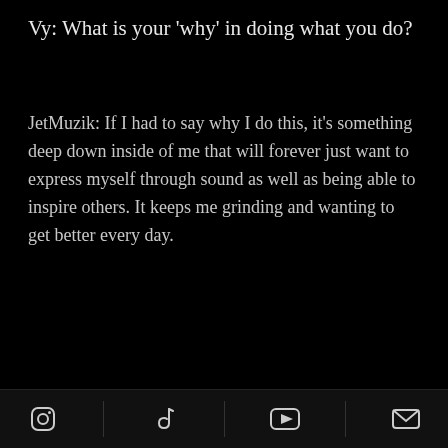Vy: What is your 'why' in doing what you do?
JetMuzik: If I had to say why I do this, it's something deep down inside of me that will forever just want to express myself through sound as well as being able to inspire others. It keeps me grinding and wanting to get better every day.
[Figure (screenshot): YouTube video embed showing 'Cut Up' ft. AV (Official ...) with a circular avatar thumbnail, red YouTube play button, and three-dot menu. A scroll-up arrow button appears in the bottom right corner of the video header area.]
[Figure (infographic): Navigation bar at the bottom with four icons separated by dividers: Instagram (circle with square), TikTok (musical note), YouTube (play button in rectangle), and email (envelope).]